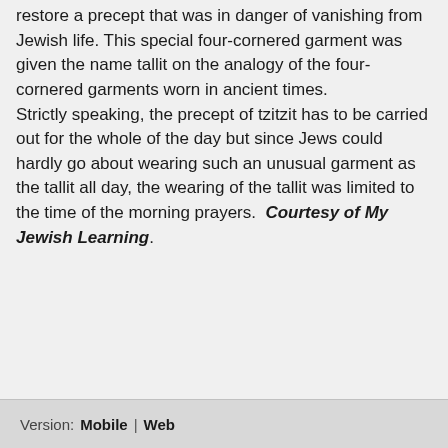restore a precept that was in danger of vanishing from Jewish life. This special four-cornered garment was given the name tallit on the analogy of the four-cornered garments worn in ancient times. Strictly speaking, the precept of tzitzit has to be carried out for the whole of the day but since Jews could hardly go about wearing such an unusual garment as the tallit all day, the wearing of the tallit was limited to the time of the morning prayers. Courtesy of My Jewish Learning.
Version: Mobile | Web